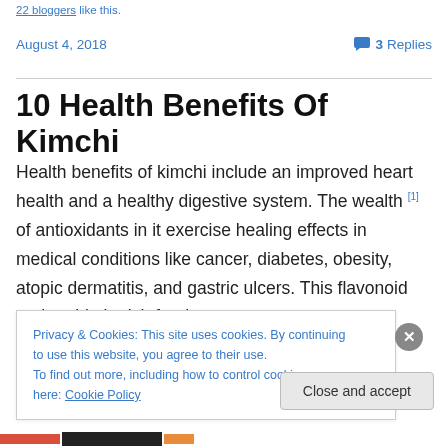22 bloggers like this.
August 4, 2018    💬 3 Replies
10 Health Benefits Of Kimchi
Health benefits of kimchi include an improved heart health and a healthy digestive system. The wealth [1] of antioxidants in it exercise healing effects in medical conditions like cancer, diabetes, obesity, atopic dermatitis, and gastric ulcers. This flavonoid and probiotic-rich food
Privacy & Cookies: This site uses cookies. By continuing to use this website, you agree to their use.
To find out more, including how to control cookies, see here: Cookie Policy